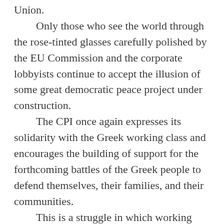Union.

    Only those who see the world through the rose-tinted glasses carefully polished by the EU Commission and the corporate lobbyists continue to accept the illusion of some great democratic peace project under construction.

    The CPI once again expresses its solidarity with the Greek working class and encourages the building of support for the forthcoming battles of the Greek people to defend themselves, their families, and their communities.

    This is a struggle in which working people throughout Europe need to stand together. An injury to one is the concern of all. If they defeat the Greek workers it will have an impact here in Ireland and on workers everywhere.